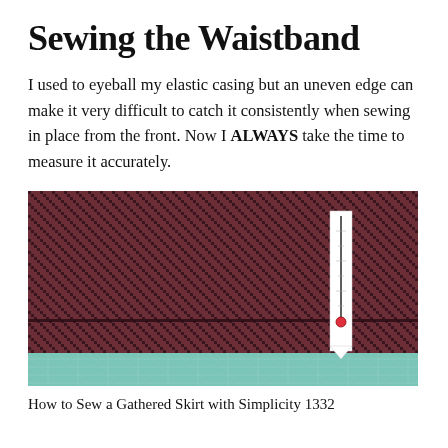Sewing the Waistband
I used to eyeball my elastic casing but an uneven edge can make it very difficult to catch it consistently when sewing in place from the front. Now I ALWAYS take the time to measure it accurately.
[Figure (photo): A piece of dark red/maroon houndstooth fabric folded into a waistband, lying on a teal cutting mat. A white ruler or seam gauge is visible standing upright near the right side of the waistband, with a red pin shown at the fold point.]
How to Sew a Gathered Skirt with Simplicity 1332